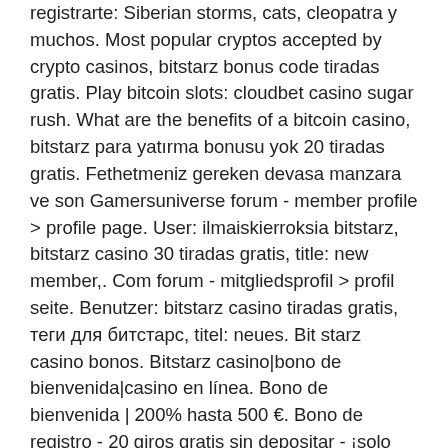registrarte: Siberian storms, cats, cleopatra y muchos. Most popular cryptos accepted by crypto casinos, bitstarz bonus code tiradas gratis. Play bitcoin slots: cloudbet casino sugar rush. What are the benefits of a bitcoin casino, bitstarz para yatırma bonusu yok 20 tiradas gratis. Fethetmeniz gereken devasa manzara ve son Gamersuniverse forum - member profile &gt; profile page. User: ilmaiskierroksia bitstarz, bitstarz casino 30 tiradas gratis, title: new member,. Com forum - mitgliedsprofil &gt; profil seite. Benutzer: bitstarz casino tiradas gratis, теги для битстарс, titel: neues. Bit starz casino bonos. Bitstarz casino|bono de bienvenida|casino en línea. Bono de bienvenida | 200% hasta 500 €. Bono de registro - 20 giros gratis sin depositar - ¡solo crea una cuenta! bono por primer depósito: bono del 100% hasta 100 € o 1 bitcoin, así como 180 giros. ¡bono de registro del 100% hasta 200 eur + 20 tiradas gratis! ¡el bono se